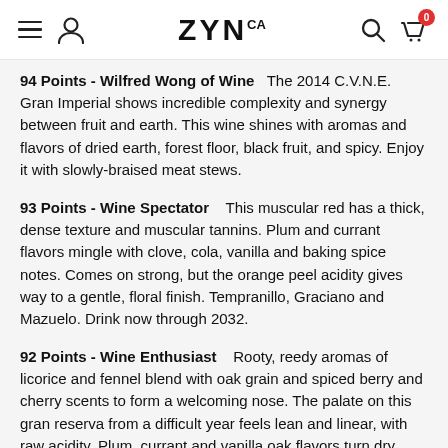ZYN.ca — navigation header with menu, account, search, and cart icons
94 Points - Wilfred Wong of Wine  The 2014 C.V.N.E. Gran Imperial shows incredible complexity and synergy between fruit and earth. This wine shines with aromas and flavors of dried earth, forest floor, black fruit, and spicy. Enjoy it with slowly-braised meat stews.
93 Points - Wine Spectator  This muscular red has a thick, dense texture and muscular tannins. Plum and currant flavors mingle with clove, cola, vanilla and baking spice notes. Comes on strong, but the orange peel acidity gives way to a gentle, floral finish. Tempranillo, Graciano and Mazuelo. Drink now through 2032.
92 Points - Wine Enthusiast  Rooty, reedy aromas of licorice and fennel blend with oak grain and spiced berry and cherry scents to form a welcoming nose. The palate on this gran reserva from a difficult year feels lean and linear, with raw acidity. Plum, currant and vanilla oak flavors turn dry.